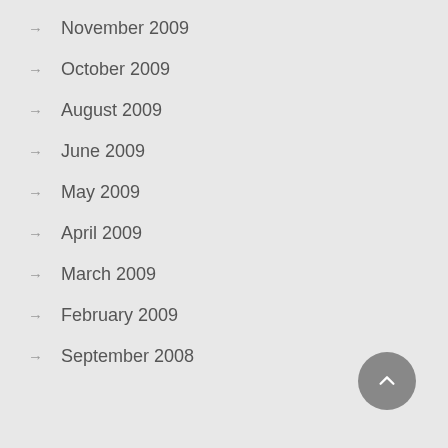→ November 2009
→ October 2009
→ August 2009
→ June 2009
→ May 2009
→ April 2009
→ March 2009
→ February 2009
→ September 2008